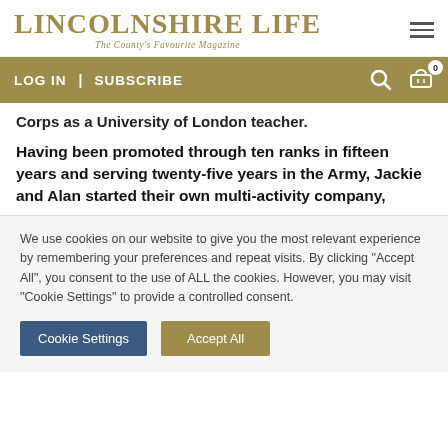LINCOLNSHIRE LIFE — The County's Favourite Magazine
LOG IN  |  SUBSCRIBE
Corps as a University of London teacher.
Having been promoted through ten ranks in fifteen years and serving twenty-five years in the Army, Jackie and Alan started their own multi-activity company,
We use cookies on our website to give you the most relevant experience by remembering your preferences and repeat visits. By clicking "Accept All", you consent to the use of ALL the cookies. However, you may visit "Cookie Settings" to provide a controlled consent.